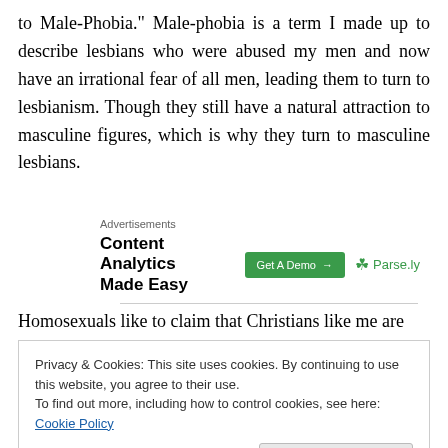to Male-Phobia." Male-phobia is a term I made up to describe lesbians who were abused my men and now have an irrational fear of all men, leading them to turn to lesbianism. Though they still have a natural attraction to masculine figures, which is why they turn to masculine lesbians.
[Figure (other): Advertisement banner: 'Content Analytics Made Easy' with a green 'Get A Demo →' button and Parse.ly logo]
Homosexuals like to claim that Christians like me are
Privacy & Cookies: This site uses cookies. By continuing to use this website, you agree to their use.
To find out more, including how to control cookies, see here: Cookie Policy
Close and accept
a t ... d l i hi J Ch i tll